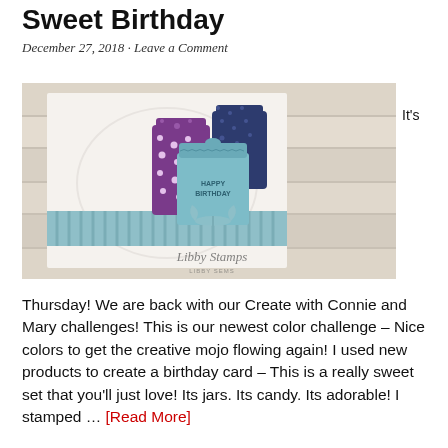Sweet Birthday
December 27, 2018 · Leave a Comment
[Figure (photo): A handmade birthday card featuring candy jars in teal, purple, and dark blue with polka dot patterns and a striped ribbon. Text on the teal jar reads HAPPY BIRTHDAY. Watermark: Libby Stamps / LIBBY SEMS.]
It's
Thursday! We are back with our Create with Connie and Mary challenges! This is our newest color challenge – Nice colors to get the creative mojo flowing again! I used new products to create a birthday card – This is a really sweet set that you'll just love! Its jars. Its candy. Its adorable! I stamped … [Read More]